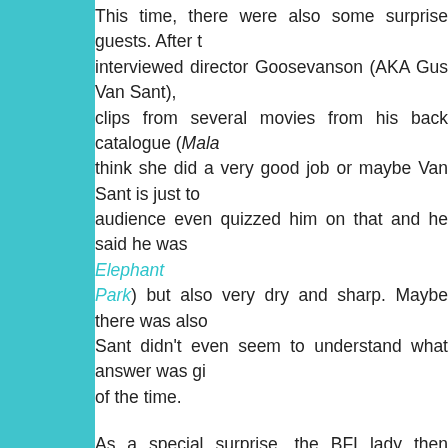This time, there were also some surprise guests. After t[he BFI lady] interviewed director Goosevanson (AKA Gus Van Sant), [she showed] clips from several movies from his back catalogue (Mala[…]) [I] think she did a very good job or maybe Van Sant is just to[o easy –] audience even quizzed him on that and he said he was […] (Elephant Park) but also very dry and sharp. Maybe there was also […] Van Sant didn't even seem to understand what answer was gi[ven half] of the time.

As a special surprise, the BFI lady then whipped out Jam[es Franco,] the writer, Dustin Lance Black and invited them to join th[e panel.] James Franco is hot and I've had a soft spot for him ever [since] Freaks and Geeks about ten years ago. Sadly he wasn[…] researching his character in Milk, he sort of mumbled for a[…] no one of his generation learned anything about Milk at scho[ol. He] went on to say how he just wanted to be true to the real S[ean, (] we're going to know whether he succeeded anyway) and […] exclusively at Van Sant and Black.

The only other Van Sant movies I've seen are To Die For, […] loathed, although perhaps just on principle). I didn't even n[otice] films which have been on my long-term to-watch list: My […] Will Hunting (mainly because I used to have a big crush[…]